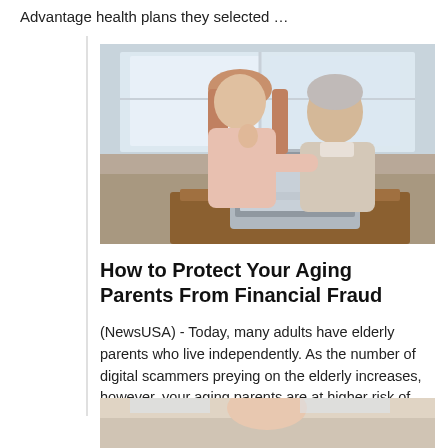Advantage health plans they selected …
[Figure (photo): A young woman and an elderly man sitting together on a couch, looking at a laptop computer on a table in front of them, near a window.]
How to Protect Your Aging Parents From Financial Fraud
(NewsUSA) - Today, many adults have elderly parents who live independently. As the number of digital scammers preying on the elderly increases, however, your aging parents are at higher risk of …
[Figure (photo): Partial photo visible at bottom of page, cropped.]